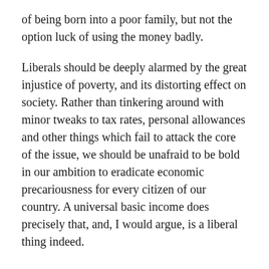of being born into a poor family, but not the option luck of using the money badly.
Liberals should be deeply alarmed by the great injustice of poverty, and its distorting effect on society. Rather than tinkering around with minor tweaks to tax rates, personal allowances and other things which fail to attack the core of the issue, we should be unafraid to be bold in our ambition to eradicate economic precariousness for every citizen of our country. A universal basic income does precisely that, and, I would argue, is a liberal thing indeed.